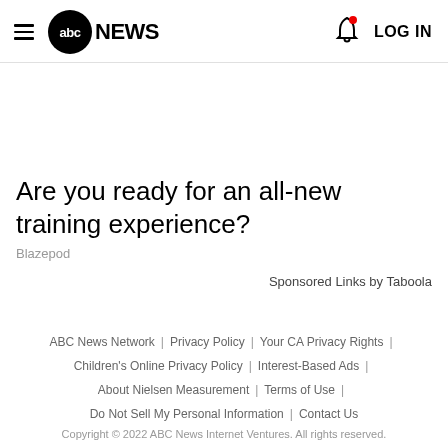ABC NEWS | LOG IN
Are you ready for an all-new training experience?
Blazepod
Sponsored Links by Taboola
ABC News Network | Privacy Policy | Your CA Privacy Rights | Children's Online Privacy Policy | Interest-Based Ads | About Nielsen Measurement | Terms of Use | Do Not Sell My Personal Information | Contact Us | Copyright © 2022 ABC News Internet Ventures. All rights reserved.